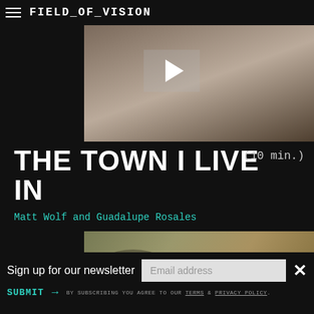FIELD_OF_VISION
[Figure (screenshot): Video thumbnail showing group of young women, with play button overlay]
THE TOWN I LIVE IN (10 min.)
Matt Wolf and Guadalupe Rosales
[Figure (photo): Close-up of a person with glasses, blurred background]
Sign up for our newsletter
SUBMIT  →  BY SUBSCRIBING YOU AGREE TO OUR TERMS & PRIVACY POLICY.